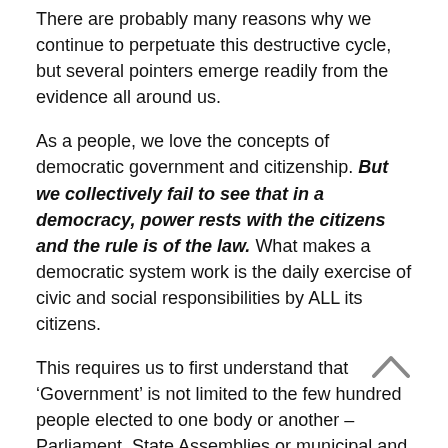There are probably many reasons why we continue to perpetuate this destructive cycle, but several pointers emerge readily from the evidence all around us.
As a people, we love the concepts of democratic government and citizenship. But we collectively fail to see that in a democracy, power rests with the citizens and the rule is of the law. What makes a democratic system work is the daily exercise of civic and social responsibilities by ALL its citizens.
This requires us to first understand that ‘Government’ is not limited to the few hundred people elected to one body or another – Parliament, State Assemblies or municipal and local bodies. It is the entire machinery of the State that is set up to legislate laws, implement them and resolve disputes arising therefrom.
Government has hundreds of arms and functions and